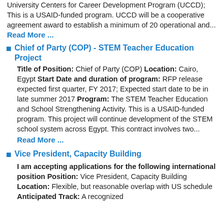University Centers for Career Development Program (UCCD); This is a USAID-funded program. UCCD will be a cooperative agreement award to establish a minimum of 20 operational and...
Read More ...
Chief of Party (COP) - STEM Teacher Education Project
Title of Position: Chief of Party (COP) Location: Cairo, Egypt Start Date and duration of program: RFP release expected first quarter, FY 2017; Expected start date to be in late summer 2017 Program: The STEM Teacher Education and School Strengthening Activity. This is a USAID-funded program. This project will continue development of the STEM school system across Egypt. This contract involves two...
Read More ...
Vice President, Capacity Building
I am accepting applications for the following international position Position: Vice President, Capacity Building Location: Flexible, but reasonable overlap with US schedule Anticipated Track: A recognized...